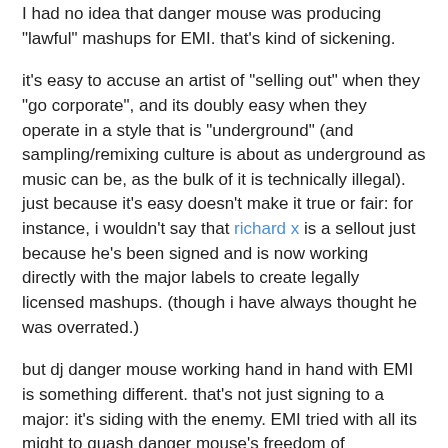I had no idea that danger mouse was producing "lawful" mashups for EMI. that's kind of sickening.
it's easy to accuse an artist of "selling out" when they "go corporate", and its doubly easy when they operate in a style that is "underground" (and sampling/remixing culture is about as underground as music can be, as the bulk of it is technically illegal). just because it's easy doesn't make it true or fair: for instance, i wouldn't say that richard x is a sellout just because he's been signed and is now working directly with the major labels to create legally licensed mashups. (though i have always thought he was overrated.)
but dj danger mouse working hand in hand with EMI is something different. that's not just signing to a major: it's siding with the enemy. EMI tried with all its might to quash danger mouse's freedom of expression, to censor his work and wipe it off the net entirely. EMI lost that PR battle, so it did the next best thing by co-opting danger mouse. the benefit to EMI is obvious. but what does danger mouse get out of it? how much money must EMI have offered to get him to collude with the very same people who had tried to